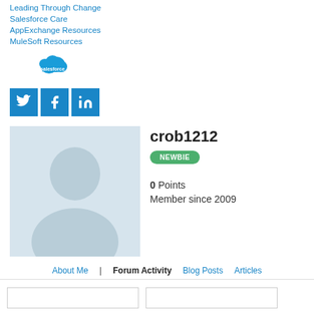Leading Through Change
Salesforce Care
AppExchange Resources
MuleSoft Resources
[Figure (logo): Salesforce cloud logo in blue]
[Figure (infographic): Twitter, Facebook, LinkedIn social media icon buttons in blue]
[Figure (photo): Default grey avatar silhouette of a person]
crob1212
NEWBIE
0 Points
Member since 2009
About Me | Forum Activity Blog Posts Articles